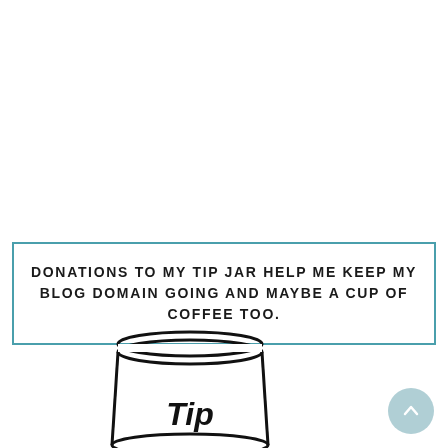DONATIONS TO MY TIP JAR HELP ME KEEP MY BLOG DOMAIN GOING AND MAYBE A CUP OF COFFEE TOO.
[Figure (illustration): A tip jar illustration — a glass jar with a lid, labeled 'Tip' in bold italic text inside]